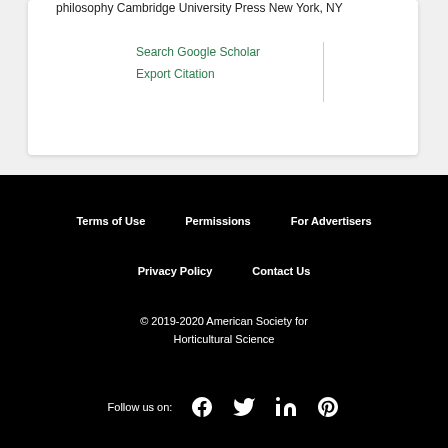philosophy Cambridge University Press New York, NY
Search Google Scholar
Export Citation
Terms of Use   Permissions   For Advertisers   Privacy Policy   Contact Us   © 2019-2020 American Society for Horticultural Science   Follow us on: